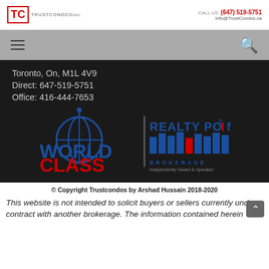TC TRUSTCONDOS | CALL US: (647) 519-5751 | info@TrustCondos.ca
[Figure (logo): Navigation bar with hamburger menu icon on left and search icon on right, gray background]
Toronto, On, M1L 4V9
Direct: 647-519-5751
Office: 416-444-7653
[Figure (logo): World Class Realty Point Brokerage logo - blue and red text with bar chart graphic, Independently Owned & Operated]
© Copyright Trustcondos by Arshad Hussain 2018-2020
This website is not intended to solicit buyers or sellers currently under contract with another brokerage. The information contained herein